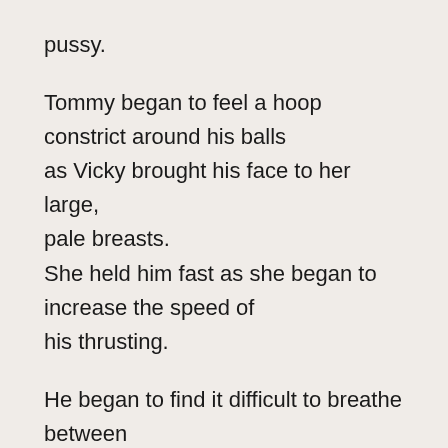pussy.

Tommy began to feel a hoop constrict around his balls
as Vicky brought his face to her large,
pale breasts.
She held him fast as she began to increase the speed of
his thrusting.

He began to find it difficult to breathe between